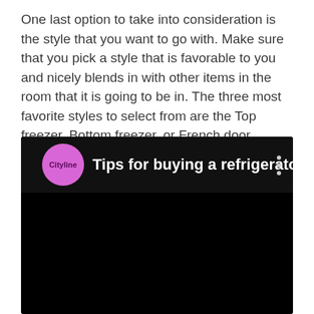One last option to take into consideration is the style that you want to go with. Make sure that you pick a style that is favorable to you and nicely blends in with other items in the room that it is going to be in. The three most favorite styles to select from are the Top freezer, Bottom freezer, or French door.
[Figure (screenshot): YouTube-style video thumbnail with black background showing a Cityline channel logo (pink circle with 'Cityline' text in purple) and title 'Tips for buying a refrigerator' in white text on dark background, with a three-dot menu icon on the right.]